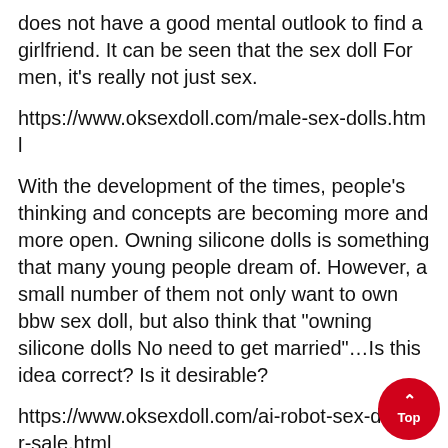does not have a good mental outlook to find a girlfriend. It can be seen that the sex doll For men, it's really not just sex.
https://www.oksexdoll.com/male-sex-dolls.html
With the development of the times, people's thinking and concepts are becoming more and more open. Owning silicone dolls is something that many young people dream of. However, a small number of them not only want to own bbw sex doll, but also think that "owning silicone dolls No need to get married"…Is this idea correct? Is it desirable?
https://www.oksexdoll.com/ai-robot-sex-doll-for-sale.html
For some boys who don't know what sex doll torso are, the editor should start to popularize the knowledge of silicone dolls: silicone dolls refer to sex dolls made of silicone material. Silicone dolls are a kind of sex dolls. Generally